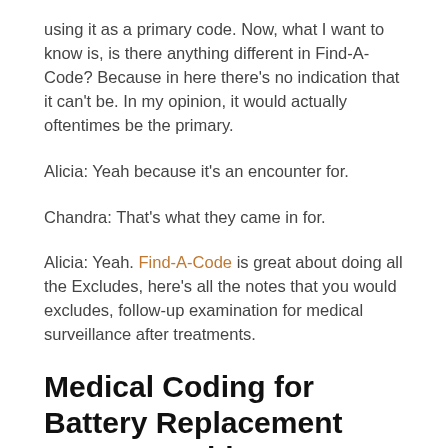using it as a primary code. Now, what I want to know is, is there anything different in Find-A-Code? Because in here there's no indication that it can't be. In my opinion, it would actually oftentimes be the primary.
Alicia: Yeah because it's an encounter for.
Chandra: That's what they came in for.
Alicia: Yeah. Find-A-Code is great about doing all the Excludes, here's all the notes that you would excludes, follow-up examination for medical surveillance after treatments.
Medical Coding for Battery Replacement Z45.010 – Video